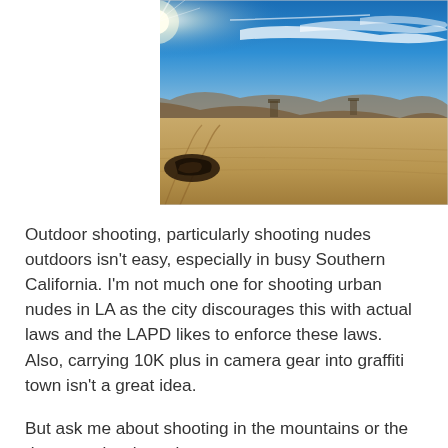[Figure (photo): A wide desert landscape with cracked dry earth in the foreground, a dark object on the ground, distant mountains under a vivid blue sky with bright sun and wispy clouds.]
Outdoor shooting, particularly shooting nudes outdoors isn't easy, especially in busy Southern California. I'm not much one for shooting urban nudes in LA as the city discourages this with actual laws and the LAPD likes to enforce these laws. Also, carrying 10K plus in camera gear into graffiti town isn't a great idea.
But ask me about shooting in the mountains or the desert and we're going